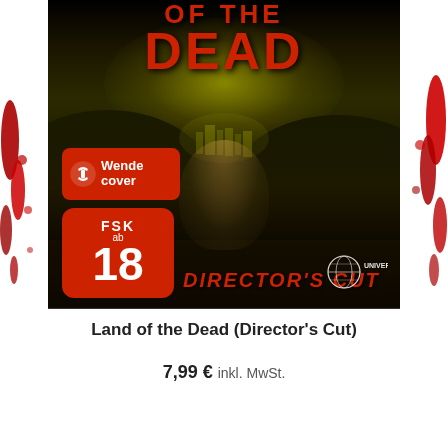[Figure (photo): DVD/Blu-ray cover of 'Land of the Dead (Director's Cut)' — dark zombie movie cover with red title text at top reading '...OF THE DEAD', a yellow-green glowing city skyline in background, a crowd of zombies, a bald zombie face prominently centered, Wendecover badge (red, top-left), FSK 18 rating badge (red, bottom-left), 'Director's Cut' text in red italic bottom-center, Universal logo bottom-right. Blood splatter decorations on left and right edges of the page.]
Land of the Dead (Director's Cut)
7,99 € inkl. MwSt.